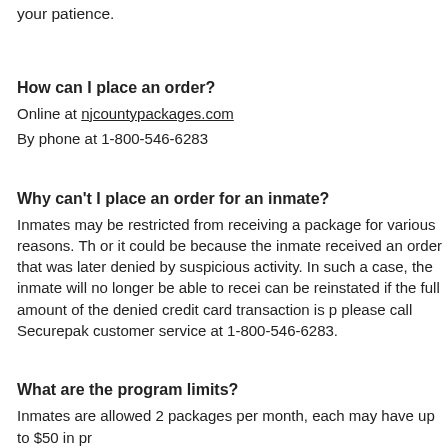your patience.
How can I place an order?
Online at njcountypackages.com
By phone at 1-800-546-6283
Why can't I place an order for an inmate?
Inmates may be restricted from receiving a package for various reasons. Th or it could be because the inmate received an order that was later denied by suspicious activity. In such a case, the inmate will no longer be able to recei can be reinstated if the full amount of the denied credit card transaction is p please call Securepak customer service at 1-800-546-6283.
What are the program limits?
Inmates are allowed 2 packages per month, each may have up to $50 in pr processing fees.
When will my order deliver?
Orders will deliver weekly with regular commissary. Allow 7-10 working days